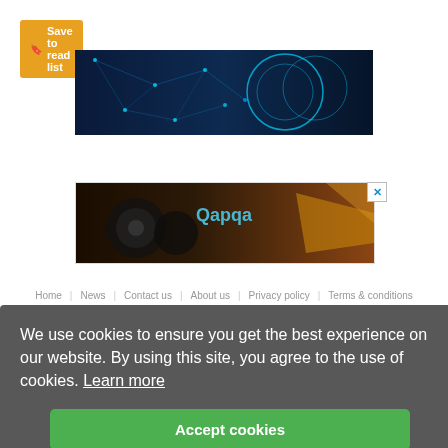Save to read list
[Figure (photo): Glowing blue digital/technological turbine or mechanical object with network mesh overlay on dark background]
[Figure (photo): Advertisement banner showing mechanical parts (gears/brakes) with 'Qapqa' text overlay and close X button]
Home | News | Contact us | About us | Privacy policy | Terms & conditions
We use cookies to ensure you get the best experience on our website. By using this site, you agree to the use of cookies. Learn more
Accept cookies